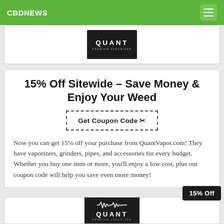CBDNEWS
[Figure (logo): Quant Premium Vaporizer logo — white text on dark background]
15% Off Sitewide – Save Money & Enjoy Your Weed
Get Coupon Code
Now you can get 15% off your purchase from QuantVapor.com! They have vaporizers, grinders, pipes, and accessories for every budget. Whether you buy one item or more, you'll enjoy a low cost, plus our coupon code will help you save even more money!
[Figure (logo): Quant Premium Vaporizer logo with waveform graphic — white on dark background, with 15% Off badge]